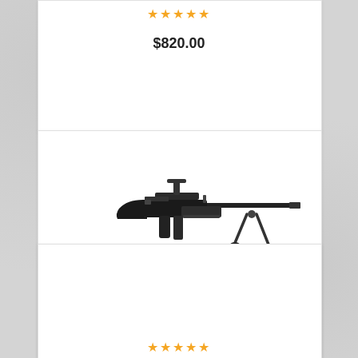★★★★★
$820.00
[Figure (photo): MK48 machine gun with bipod, black finish, side profile view]
MK48 MACHINE GUN
★★★★★